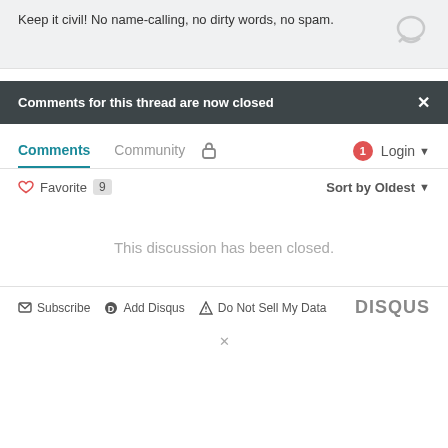Keep it civil! No name-calling, no dirty words, no spam.
Comments for this thread are now closed
Comments  Community  🔒  1  Login
♥ Favorite  9  Sort by Oldest
This discussion has been closed.
✉ Subscribe  ⓓ Add Disqus  ⚠ Do Not Sell My Data  DISQUS